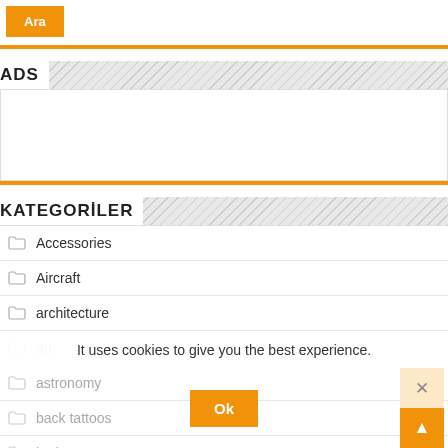[Figure (other): Orange 'Ara' search button]
ADS
[Figure (other): Ads placeholder box with orange bottom bar]
KATEGORILER
Accessories
Aircraft
architecture
art
astronomy
back tattoos
bathroom
It uses cookies to give you the best experience.
[Figure (other): Ok button and close/scroll-up overlay]